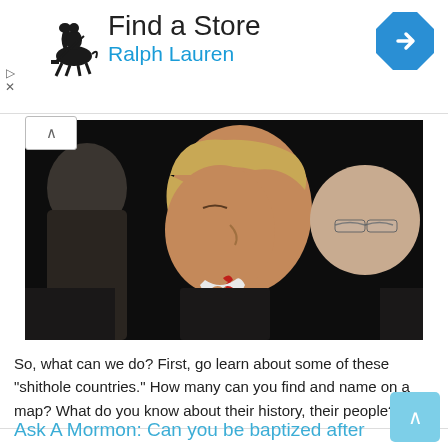[Figure (other): Ralph Lauren advertisement banner with polo player logo, 'Find a Store' text, 'Ralph Lauren' brand name in blue, and a blue navigation direction icon on the right]
[Figure (photo): Close-up photograph of Donald Trump in profile view with dark background, flanked by two other men in dark suits, Trump wearing a red tie]
So, what can we do? First, go learn about some of these "shithole countries." How many can you find and name on a map? What do you know about their history, their people?
Read More »
Ask A Mormon: Can you be baptized after